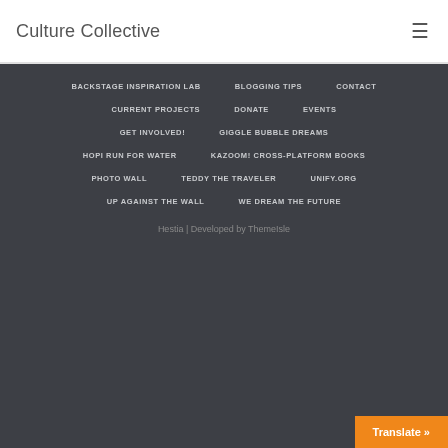Culture Collective
BACKSTAGE INSPIRATION LAB
BLOGGING TIPS
CONTACT
CURRENT PROJECTS
DONATE
EVENTS
GET INVOLVED!
GIGGLE BUBBLE DREAMS
HOPI RUN FOR WATER
KAZOOM! CROSS-PLATFORM BOOKS
PHOTO WALL
TEDDY THE TRAVELER
UNIFY.ORG
UP AGAINST THE WALL
WE DREAM THE FUTURE
Hestia | Developed by ThemeIsle
Translate »